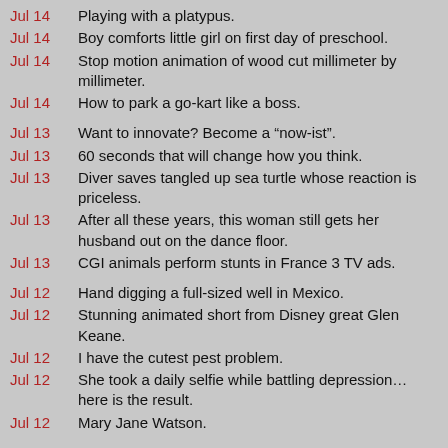Jul 14 Playing with a platypus.
Jul 14 Boy comforts little girl on first day of preschool.
Jul 14 Stop motion animation of wood cut millimeter by millimeter.
Jul 14 How to park a go-kart like a boss.
Jul 13 Want to innovate? Become a “now-ist”.
Jul 13 60 seconds that will change how you think.
Jul 13 Diver saves tangled up sea turtle whose reaction is priceless.
Jul 13 After all these years, this woman still gets her husband out on the dance floor.
Jul 13 CGI animals perform stunts in France 3 TV ads.
Jul 12 Hand digging a full-sized well in Mexico.
Jul 12 Stunning animated short from Disney great Glen Keane.
Jul 12 I have the cutest pest problem.
Jul 12 She took a daily selfie while battling depression… here is the result.
Jul 12 Mary Jane Watson.